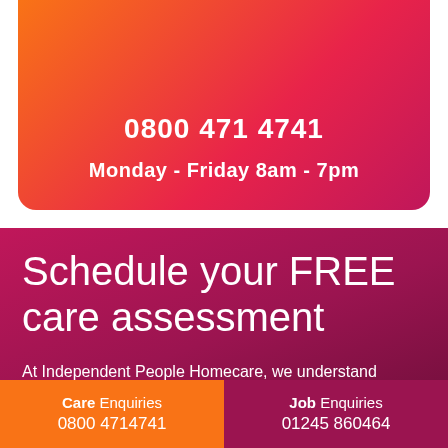0800 471 4741
Monday - Friday 8am - 7pm
Schedule your FREE care assessment
At Independent People Homecare, we understand everyone's care needs are different. To arrange a FREE care assessment please complete the following form and one of our Care Managers will be in touch to arrange a time and
Care Enquiries 0800 4714741
Job Enquiries 01245 860464